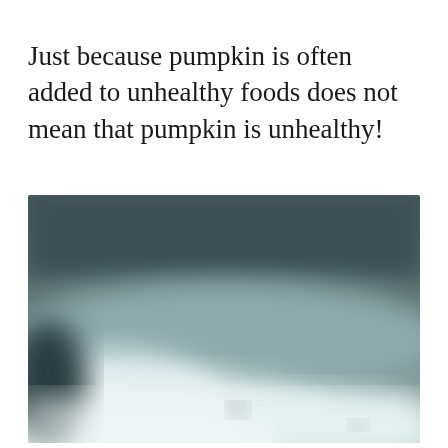Just because pumpkin is often added to unhealthy foods does not mean that pumpkin is unhealthy!
[Figure (photo): A blurry outdoor photo showing a dark stormy teal-grey sky in the upper portion and white foamy clouds or sea foam in the lower portion. The image is strongly blurred/defocused.]